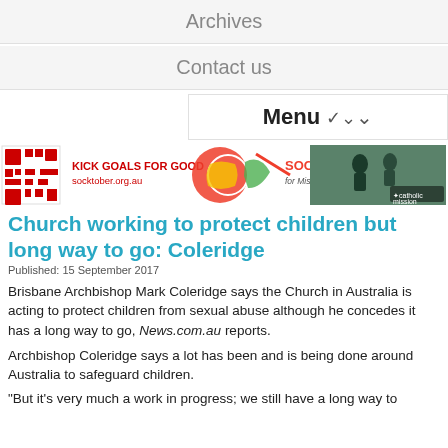Archives
Contact us
Menu ∨
[Figure (photo): Advertisement banner for Socktober - Kick Goals for Good, socktober.org.au, with QR code and image of people playing soccer, Catholic Mission logo.]
Church working to protect children but long way to go: Coleridge
Published: 15 September 2017
Brisbane Archbishop Mark Coleridge says the Church in Australia is acting to protect children from sexual abuse although he concedes it has a long way to go, News.com.au reports.
Archbishop Coleridge says a lot has been and is being done around Australia to safeguard children.
"But it's very much a work in progress; we still have a long way to